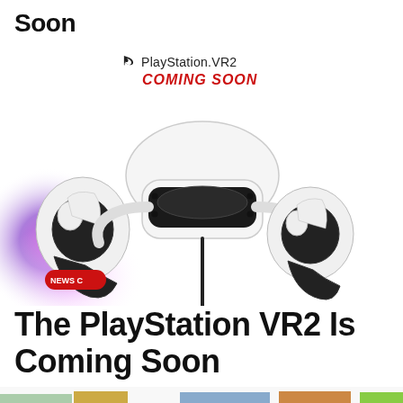Soon
[Figure (photo): PlayStation VR2 headset and controllers shown with colorful gradient background. Text overlay reads 'PlayStation VR2 COMING SOON'. A NEWS C logo badge is visible in the lower left corner of the image.]
The PlayStation VR2 Is Coming Soon